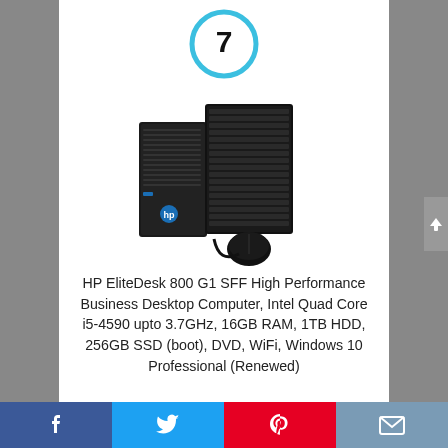[Figure (other): Circular rank badge with number 7, blue outline circle on white background]
[Figure (photo): HP EliteDesk 800 G1 SFF desktop computer shown with a matching keyboard and mouse, all in black]
HP EliteDesk 800 G1 SFF High Performance Business Desktop Computer, Intel Quad Core i5-4590 upto 3.7GHz, 16GB RAM, 1TB HDD, 256GB SSD (boot), DVD, WiFi, Windows 10 Professional (Renewed)
[Figure (infographic): Social sharing bar at bottom with Facebook, Twitter, Pinterest, and email icons]